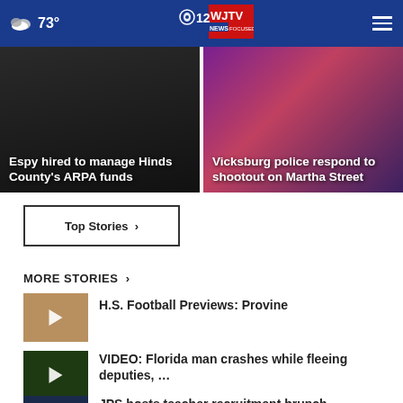73° WJTV News Focused On You
[Figure (photo): News card: Espy hired to manage Hinds County's ARPA funds - dark background with text overlay]
[Figure (photo): News card: Vicksburg police respond to shootout on Martha Street - purple/red bokeh background with text overlay]
Top Stories ›
MORE STORIES ›
[Figure (photo): Thumbnail for H.S. Football Previews: Provine - football players on field]
H.S. Football Previews: Provine
[Figure (photo): Thumbnail for VIDEO: Florida man crashes while fleeing deputies - car crash scene]
VIDEO: Florida man crashes while fleeing deputies, …
[Figure (photo): Thumbnail for JPS hosts teacher recruitment brunch]
JPS hosts teacher recruitment brunch